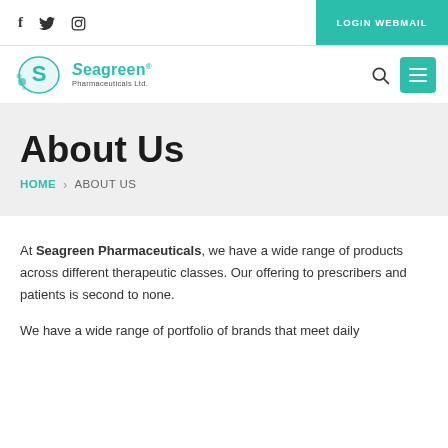f  twitter  instagram  |  LOGIN WEBMAIL
[Figure (logo): Seagreen Pharmaceuticals Ltd. logo with stylized S icon in teal]
About Us
HOME > ABOUT US
At Seagreen Pharmaceuticals, we have a wide range of products across different therapeutic classes. Our offering to prescribers and patients is second to none.
We have a wide range of portfolio of brands that meet daily